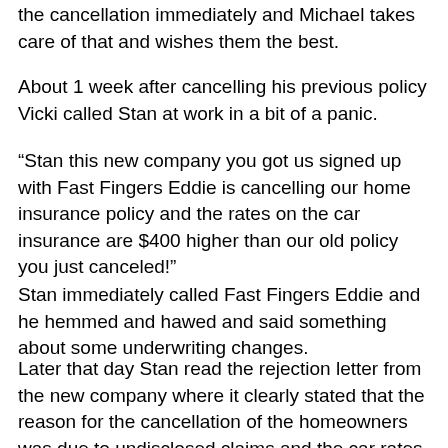the cancellation immediately and Michael takes care of that and wishes them the best.
About 1 week after cancelling his previous policy Vicki called Stan at work in a bit of a panic.
“Stan this new company you got us signed up with Fast Fingers Eddie is cancelling our home insurance policy and the rates on the car insurance are $400 higher than our old policy you just canceled!”
Stan immediately called Fast Fingers Eddie and he hemmed and hawed and said something about some underwriting changes.
Later that day Stan read the rejection letter from the new company where it clearly stated that the reason for the cancellation of the homeowners was due to undisclosed claims and the car rates are more because of undisclosed tickets.
Stan calls his former agent back and they were able to find an insurance solution for them.